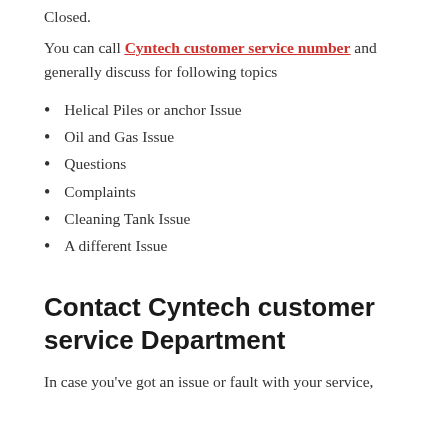Closed.
You can call Cyntech customer service number and generally discuss for following topics
Helical Piles or anchor Issue
Oil and Gas Issue
Questions
Complaints
Cleaning Tank Issue
A different Issue
Contact Cyntech customer service Department
In case you've got an issue or fault with your service,